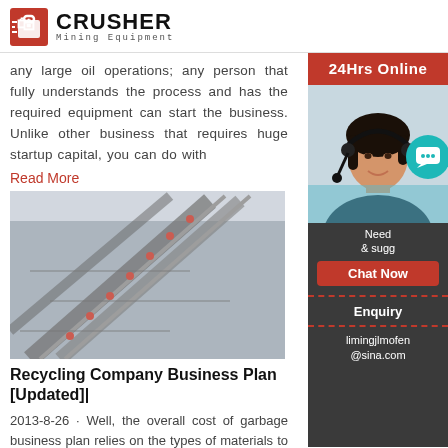CRUSHER Mining Equipment
any large oil operations; any person that fully understands the process and has the required equipment can start the business. Unlike other business that requires huge startup capital, you can do with
Read More
[Figure (photo): Industrial conveyor belt system at a mining or crushing facility, with snowy or dusty conditions]
Recycling Company Business Plan [Updated]|
2013-8-26 · Well, the overall cost of garbage business plan relies on the types of materials to be processed. Here are some basic start-up costs w potential costs –. Processing – $1500 per mont
[Figure (photo): 24Hrs Online sidebar with a woman wearing a headset, chat now button, enquiry button, and email limingjlmofen@sina.com]